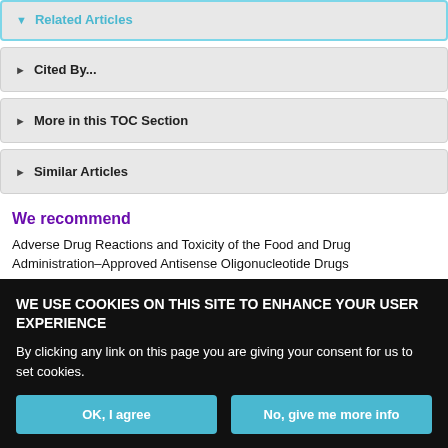Related Articles
Cited By...
More in this TOC Section
Similar Articles
We recommend
Adverse Drug Reactions and Toxicity of the Food and Drug Administration–Approved Antisense Oligonucleotide Drugs
Feryal Alhamadani et al., Drug Metab Dispos, 2022
WE USE COOKIES ON THIS SITE TO ENHANCE YOUR USER EXPERIENCE
By clicking any link on this page you are giving your consent for us to set cookies.